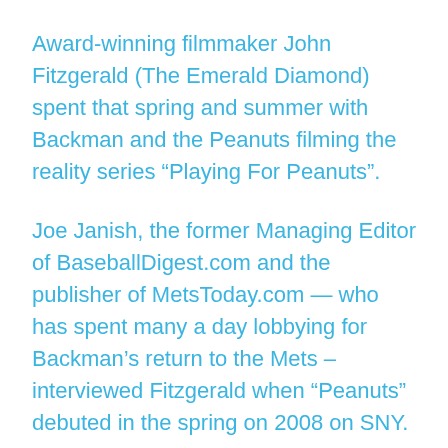Award-winning filmmaker John Fitzgerald (The Emerald Diamond) spent that spring and summer with Backman and the Peanuts filming the reality series “Playing For Peanuts”.
Joe Janish, the former Managing Editor of BaseballDigest.com and the publisher of MetsToday.com — who has spent many a day lobbying for Backman’s return to the Mets – interviewed Fitzgerald when “Peanuts” debuted in the spring on 2008 on SNY.
“Once I found out Wally Backman was managing a team, I chose to follow his team because he had the